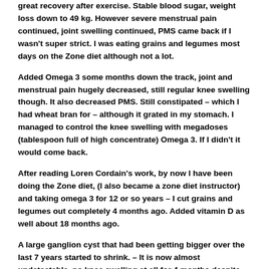great recovery after exercise. Stable blood sugar, weight loss down to 49 kg. However severe menstrual pain continued, joint swelling continued, PMS came back if I wasn't super strict. I was eating grains and legumes most days on the Zone diet although not a lot.
Added Omega 3 some months down the track, joint and menstrual pain hugely decreased, still regular knee swelling though. It also decreased PMS. Still constipated – which I had wheat bran for – although it grated in my stomach. I managed to control the knee swelling with megadoses (tablespoon full of high concentrate) Omega 3. If I didn't it would come back.
After reading Loren Cordain's work, by now I have been doing the Zone diet, (I also became a zone diet instructor) and taking omega 3 for 12 or so years – I cut grains and legumes out completely 4 months ago. Added vitamin D as well about 18 months ago.
A large ganglion cyst that had been getting bigger over the last 7 years started to shrink. – It is now almost undetectable, no knee swelling at all for 4 months despite all the squats at running at CrossFit. Interestingly I had a Pizza meal one night as an experiment and the next day the ganglion cyst was tender. Re constipation – all is good now, although I do add a little ground flax seed, have kiwifruit and lots of salads – works way better than wheat bran. I don't have to take nearly the same amount of omega 3 to control inflammation, as I just don't